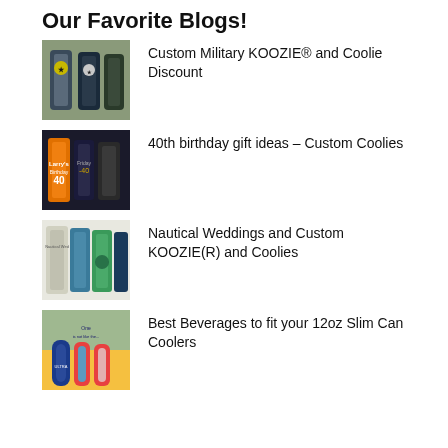Our Favorite Blogs!
Custom Military KOOZIE® and Coolie Discount
40th birthday gift ideas – Custom Coolies
Nautical Weddings and Custom KOOZIE(R) and Coolies
Best Beverages to fit your 12oz Slim Can Coolers